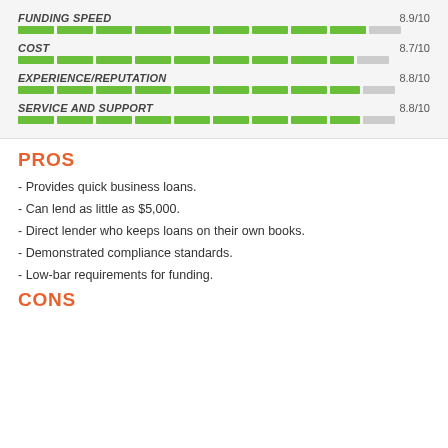[Figure (infographic): Rating bars for FUNDING SPEED 8.9/10, COST 8.7/10, EXPERIENCE/REPUTATION 8.8/10, SERVICE AND SUPPORT 8.8/10]
PROS
- Provides quick business loans.
- Can lend as little as $5,000.
- Direct lender who keeps loans on their own books.
- Demonstrated compliance standards.
- Low-bar requirements for funding.
CONS